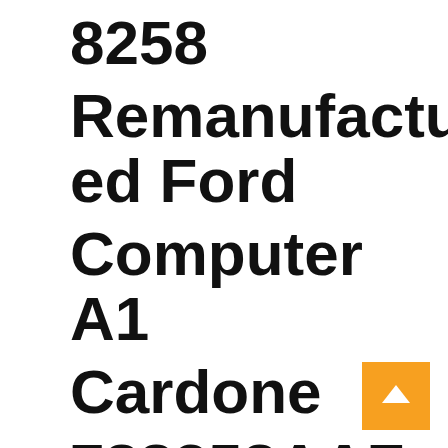8258 Remanufactured Ford Computer A1 Cardone 788258AAF